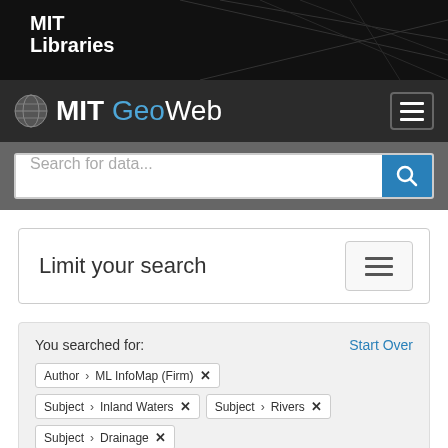MIT Libraries
MIT GeoWeb
Search for data...
Limit your search
You searched for:
Start Over
Author › ML InfoMap (Firm) ✕
Subject › Inland Waters ✕  Subject › Rivers ✕
Subject › Drainage ✕